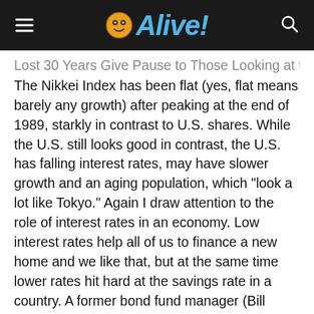Alive!
Lost 30 Years Give Pause to Those Looking at the U.S. The Nikkei Index has been flat (yes, flat means barely any growth) after peaking at the end of 1989, starkly in contrast to U.S. shares. While the U.S. still looks good in contrast, the U.S. has falling interest rates, may have slower growth and an aging population, which "look a lot like Tokyo." Again I draw attention to the role of interest rates in an economy. Low interest rates help all of us to finance a new home and we like that, but at the same time lower rates hit hard at the savings rate in a country. A former bond fund manager (Bill Gross) is quoted: "Artificially low interest rates destroy the savings function so necessary for capital to be invested in the real economy. Pension funds, insurance companies and any financed-based structure with long